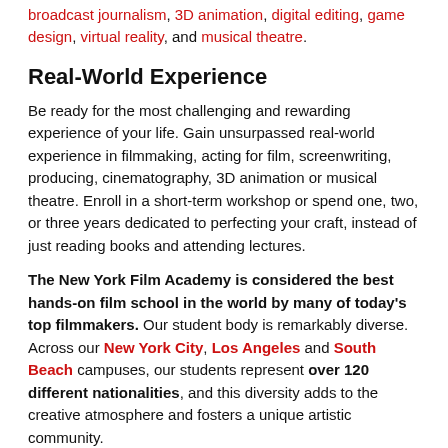broadcast journalism, 3D animation, digital editing, game design, virtual reality, and musical theatre.
Real-World Experience
Be ready for the most challenging and rewarding experience of your life. Gain unsurpassed real-world experience in filmmaking, acting for film, screenwriting, producing, cinematography, 3D animation or musical theatre. Enroll in a short-term workshop or spend one, two, or three years dedicated to perfecting your craft, instead of just reading books and attending lectures.
The New York Film Academy is considered the best hands-on film school in the world by many of today's top filmmakers. Our student body is remarkably diverse. Across our New York City, Los Angeles and South Beach campuses, our students represent over 120 different nationalities, and this diversity adds to the creative atmosphere and fosters a unique artistic community.